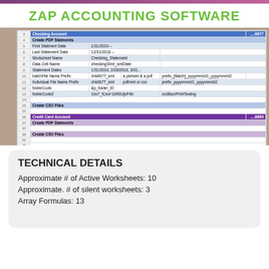ZAP ACCOUNTING SOFTWARE
[Figure (screenshot): Screenshot of a spreadsheet showing Checking Account (....6677) and Credit Card Account (....8899) sections with rows for Create PDF Statements, Create CSV Files, and various configuration fields like First Statement Date, Last Statement Date, Worksheet Name, Data Cell Name, etc. Tab bar at bottom shows CC_CSV, BatchSave, GetFileIDs_CreateLinks, cancelledChecks, _validation_lists.]
TECHNICAL DETAILS
Approximate # of Active Worksheets: 10
Approximate. # of silent worksheets: 3
Array Formulas: 13